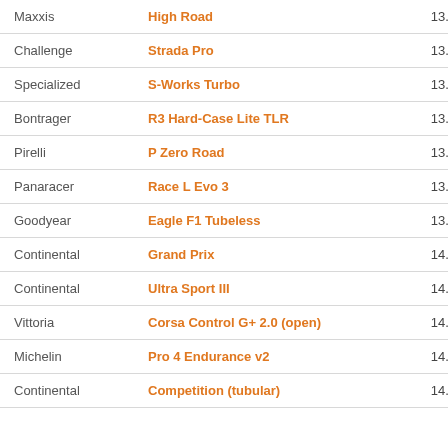| Brand | Model | Rolling Resistance |
| --- | --- | --- |
| Maxxis | High Road | 13.2 W |
| Challenge | Strada Pro | 13.4 W |
| Specialized | S-Works Turbo | 13.4 W |
| Bontrager | R3 Hard-Case Lite TLR | 13.6 W |
| Pirelli | P Zero Road | 13.7 W |
| Panaracer | Race L Evo 3 | 13.9 W |
| Goodyear | Eagle F1 Tubeless | 13.9 W |
| Continental | Grand Prix | 14.0 W |
| Continental | Ultra Sport III | 14.1 W |
| Vittoria | Corsa Control G+ 2.0 (open) | 14.1 W |
| Michelin | Pro 4 Endurance v2 | 14.2 W |
| Continental | Competition (tubular) | 14.2 W |